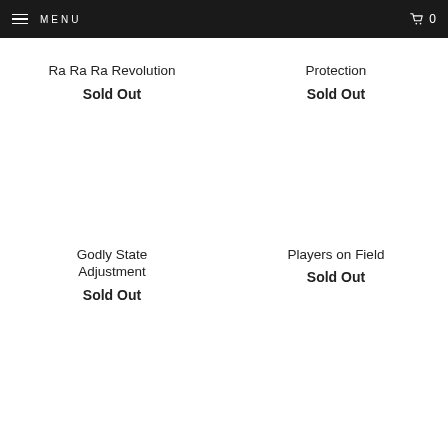MENU  0
Ra Ra Ra Revolution
Sold Out
Protection
Sold Out
Godly State Adjustment
Sold Out
Players on Field
Sold Out